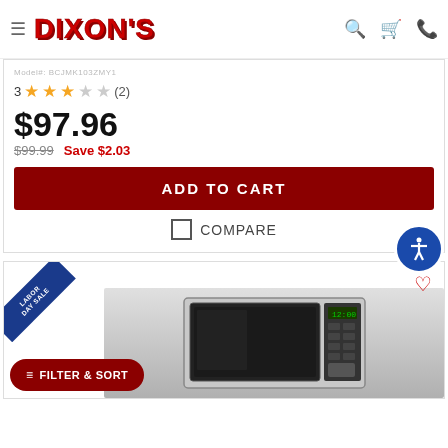DIXON'S
Model#: BCJMK103ZMY1
3 ★★★☆☆ (2)
$97.96
$99.99  Save $2.03
ADD TO CART
COMPARE
[Figure (photo): Stainless steel microwave oven with digital display showing 12:00, with LABOR DAY SALE badge in upper left corner]
FILTER & SORT